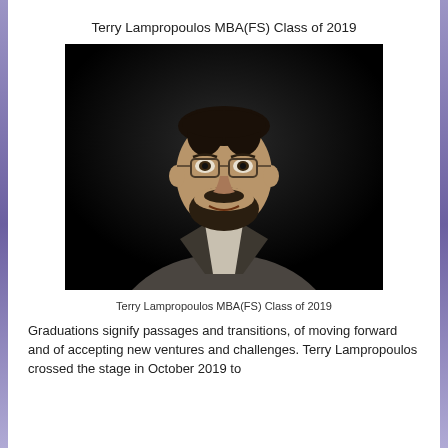Terry Lampropoulos MBA(FS) Class of 2019
[Figure (photo): Portrait photo of Terry Lampropoulos, a man in a grey blazer and light shirt, with glasses and a beard, against a dark/black background.]
Terry Lampropoulos MBA(FS) Class of 2019
Graduations signify passages and transitions, of moving forward and of accepting new ventures and challenges. Terry Lampropoulos crossed the stage in October 2019 to